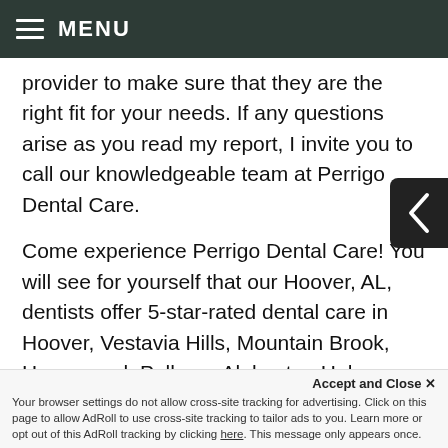MENU
provider to make sure that they are the right fit for your needs. If any questions arise as you read my report, I invite you to call our knowledgeable team at Perrigo Dental Care.
Come experience Perrigo Dental Care! You will see for yourself that our Hoover, AL, dentists offer 5-star-rated dental care in Hoover, Vestavia Hills, Mountain Brook, Homewood, Pelham, Alabaster, Helena, Calera, McCalla, Trussville, Springville, Irondale, Birmingham
Red Mountain area, Chelsea, Meadowbro...
Accept and Close ✕
Your browser settings do not allow cross-site tracking for advertising. Click on this page to allow AdRoll to use cross-site tracking to tailor ads to you. Learn more or opt out of this AdRoll tracking by clicking here. This message only appears once.